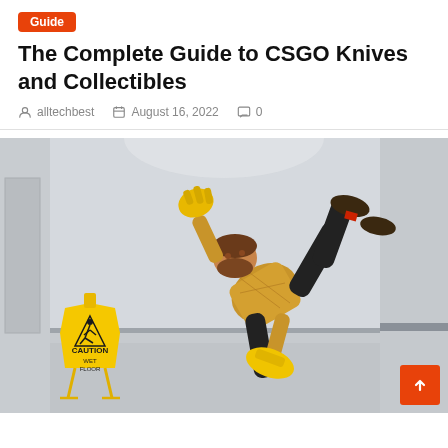Guide
The Complete Guide to CSGO Knives and Collectibles
alltechbest   August 16, 2022   0
[Figure (photo): A man slipping and falling next to a yellow CAUTION WET FLOOR sign in an indoor hallway or corridor.]